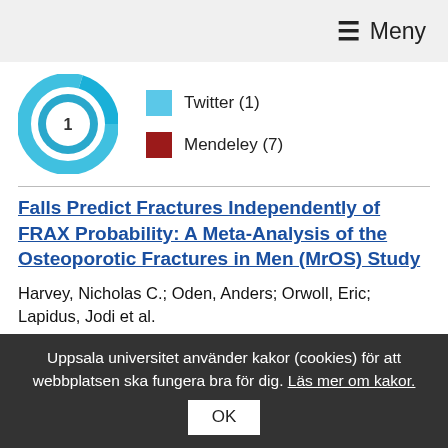≡ Meny
[Figure (other): Altmetric donut badge showing score 1, with teal/blue ring. Legend: Twitter (1), Mendeley (7)]
Falls Predict Fractures Independently of FRAX Probability: A Meta-Analysis of the Osteoporotic Fractures in Men (MrOS) Study
Harvey, Nicholas C.; Oden, Anders; Orwoll, Eric; Lapidus, Jodi et al.
Ingår i Journal of Bone and Mineral Research, s. 510-516, 2018.
Artikel i tidskrift
Uppsala universitet använder kakor (cookies) för att webbplatsen ska fungera bra för dig. Läs mer om kakor.
OK